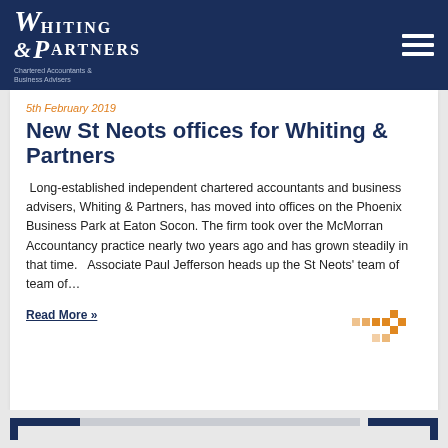Whiting & Partners — Chartered Accountants & Business Advisers
5th February 2019
New St Neots offices for Whiting & Partners
Long-established independent chartered accountants and business advisers, Whiting & Partners, has moved into offices on the Phoenix Business Park at Eaton Socon. The firm took over the McMorran Accountancy practice nearly two years ago and has grown steadily in that time.   Associate Paul Jefferson heads up the St Neots' team of team of…
Read More »